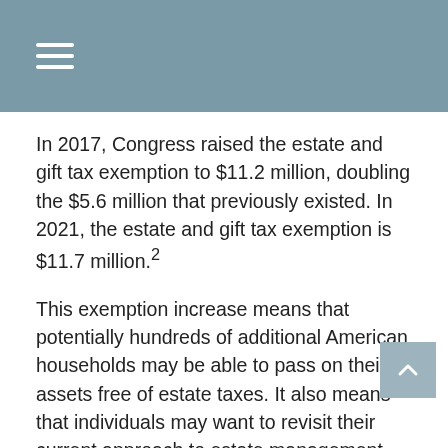In 2017, Congress raised the estate and gift tax exemption to $11.2 million, doubling the $5.6 million that previously existed. In 2021, the estate and gift tax exemption is $11.7 million.2
This exemption increase means that potentially hundreds of additional American households may be able to pass on their assets free of estate taxes. It also means that individuals may want to revisit their current approach to estate management.
Changes in Gift Strategies
One of the objectives of gifting assets is to manage taxation on an estate's future growth. However, this strategy comes at the cost of losing the tax advantage of the step-up in cost basis attached to inherited assets.